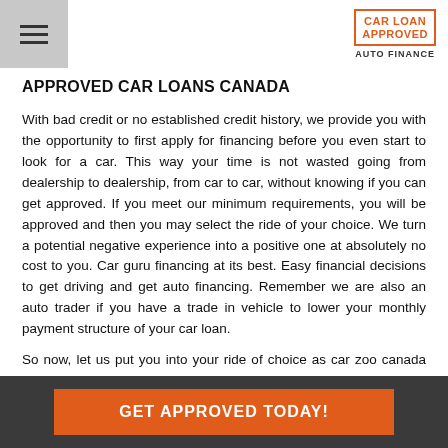CAR LOAN APPROVED AUTO FINANCE
APPROVED CAR LOANS CANADA
With bad credit or no established credit history, we provide you with the opportunity to first apply for financing before you even start to look for a car. This way your time is not wasted going from dealership to dealership, from car to car, without knowing if you can get approved. If you meet our minimum requirements, you will be approved and then you may select the ride of your choice. We turn a potential negative experience into a positive one at absolutely no cost to you. Car guru financing at its best. Easy financial decisions to get driving and get auto financing. Remember we are also an auto trader if you have a trade in vehicle to lower your monthly payment structure of your car loan.
So now, let us put you into your ride of choice as car zoo canada drives car loan approvals in Joe Batts Arm Barrd Islands, Shoal Bay, Newfoundland Labrador, quickly, and
GET APPROVED TODAY!